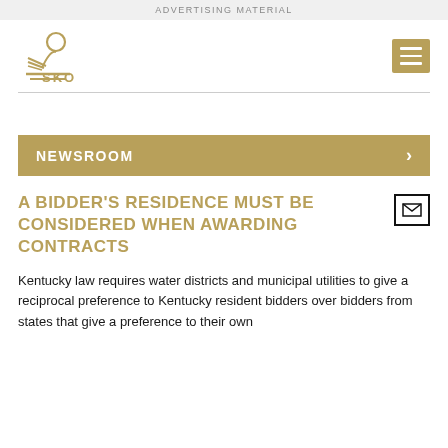ADVERTISING MATERIAL
[Figure (logo): SKO law firm logo with stylized scales of justice icon in gold]
NEWSROOM
A BIDDER'S RESIDENCE MUST BE CONSIDERED WHEN AWARDING CONTRACTS
Kentucky law requires water districts and municipal utilities to give a reciprocal preference to Kentucky resident bidders over bidders from states that give a preference to their own